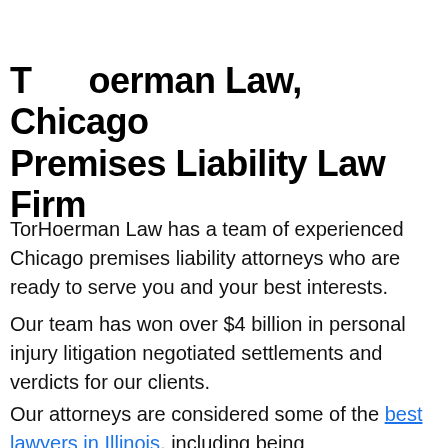TorHoerman Law, Chicago Premises Liability Law Firm
TorHoerman Law has a team of experienced Chicago premises liability attorneys who are ready to serve you and your best interests.
Our team has won over $4 billion in personal injury litigation negotiated settlements and verdicts for our clients.
Our attorneys are considered some of the best lawyers in Illinois, including being